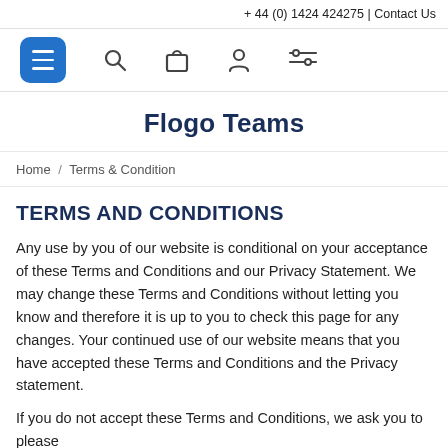+ 44 (0) 1424 424275 | Contact Us
[Figure (other): Navigation bar with hamburger menu button, search icon, shopping bag icon, user/account icon, and filter/settings icon]
Flogo Teams
Home / Terms & Condition
TERMS AND CONDITIONS
Any use by you of our website is conditional on your acceptance of these Terms and Conditions and our Privacy Statement. We may change these Terms and Conditions without letting you know and therefore it is up to you to check this page for any changes. Your continued use of our website means that you have accepted these Terms and Conditions and the Privacy statement.
If you do not accept these Terms and Conditions, we ask you to please